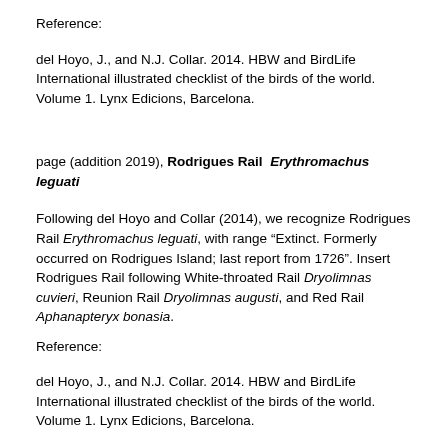Reference:
del Hoyo, J., and N.J. Collar. 2014. HBW and BirdLife International illustrated checklist of the birds of the world. Volume 1. Lynx Edicions, Barcelona.
page (addition 2019), Rodrigues Rail  Erythromachus leguati
Following del Hoyo and Collar (2014), we recognize Rodrigues Rail Erythromachus leguati, with range “Extinct. Formerly occurred on Rodrigues Island; last report from 1726”. Insert Rodrigues Rail following White-throated Rail Dryolimnas cuvieri, Reunion Rail Dryolimnas augusti, and Red Rail Aphanapteryx bonasia.
Reference:
del Hoyo, J., and N.J. Collar. 2014. HBW and BirdLife International illustrated checklist of the birds of the world. Volume 1. Lynx Edicions, Barcelona.